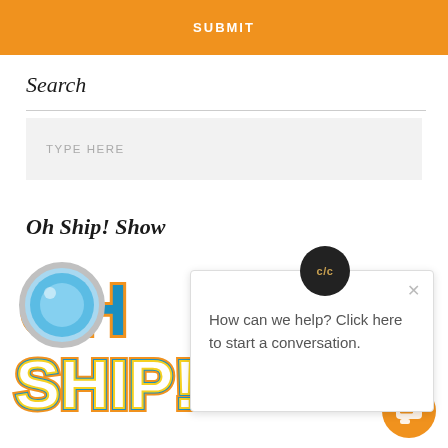SUBMIT
Search
TYPE HERE
Oh Ship! Show
[Figure (logo): Oh Ship! Show logo with stylized OH SHIP! text in blue and yellow with a porthole graphic]
[Figure (screenshot): Chat popup with C/C avatar circle and message: How can we help? Click here to start a conversation.]